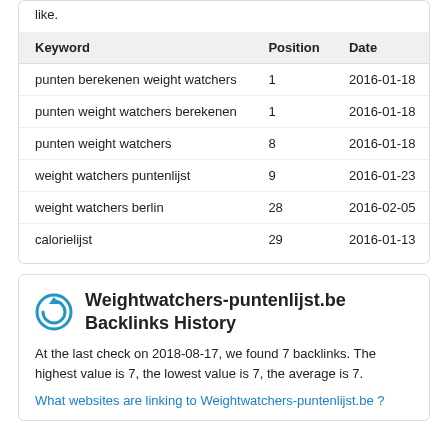like.
| Keyword | Position | Date |
| --- | --- | --- |
| punten berekenen weight watchers | 1 | 2016-01-18 |
| punten weight watchers berekenen | 1 | 2016-01-18 |
| punten weight watchers | 8 | 2016-01-18 |
| weight watchers puntenlijst | 9 | 2016-01-23 |
| weight watchers berlin | 28 | 2016-02-05 |
| calorielijst | 29 | 2016-01-13 |
Weightwatchers-puntenlijst.be Backlinks History
At the last check on 2018-08-17, we found 7 backlinks. The highest value is 7, the lowest value is 7, the average is 7.
What websites are linking to Weightwatchers-puntenlijst.be ?